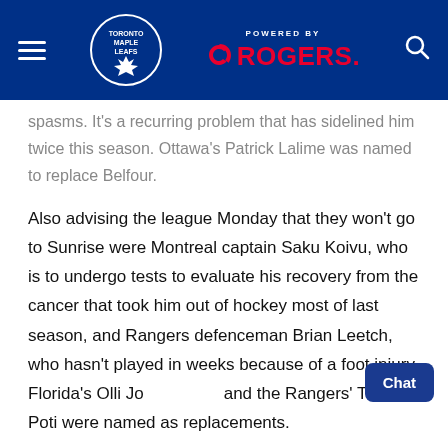Toronto Maple Leafs — Powered by Rogers
spasms. It's a recurring problem that has sidelined him twice this season. Ottawa's Patrick Lalime was named to replace Belfour.
Also advising the league Monday that they won't go to Sunrise were Montreal captain Saku Koivu, who is to undergo tests to evaluate his recovery from the cancer that took him out of hockey most of last season, and Rangers defenceman Brian Leetch, who hasn't played in weeks because of a foot injury. Florida's Olli Jo and the Rangers' Tom Poti were named as replacements.